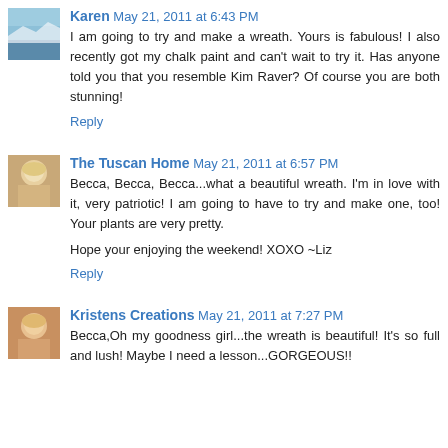[Figure (photo): Small avatar photo of Karen, landscape/sky image]
Karen May 21, 2011 at 6:43 PM
I am going to try and make a wreath. Yours is fabulous! I also recently got my chalk paint and can't wait to try it. Has anyone told you that you resemble Kim Raver? Of course you are both stunning!
Reply
[Figure (photo): Small avatar photo of The Tuscan Home, blonde woman]
The Tuscan Home May 21, 2011 at 6:57 PM
Becca, Becca, Becca...what a beautiful wreath. I'm in love with it, very patriotic! I am going to have to try and make one, too! Your plants are very pretty.
Hope your enjoying the weekend! XOXO ~Liz
Reply
[Figure (photo): Small avatar photo of Kristens Creations, blonde woman]
Kristens Creations May 21, 2011 at 7:27 PM
Becca,Oh my goodness girl...the wreath is beautiful! It's so full and lush! Maybe I need a lesson...GORGEOUS!!